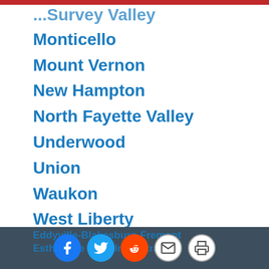... Survey Valley
Monticello
Mount Vernon
New Hampton
North Fayette Valley
Underwood
Union
Waukon
West Liberty
West Marshall
Williamsburg
East Sac County
Eddyville-Blakesburg-Fremont
Estherville Lincoln Central